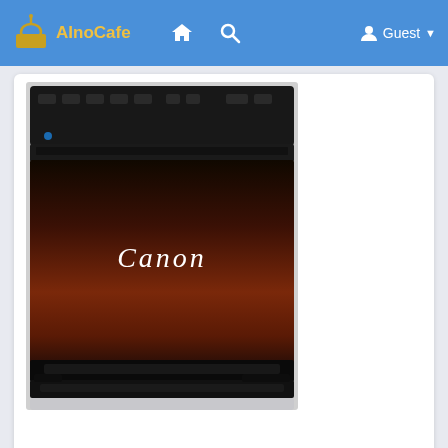AInoCafe | Home | Search | Guest
[Figure (photo): A Canon brand black and brown printer/scanner device photographed from the front]
This website uses cookies to ensure you get the best experience on our website.
Learn More
Timeline  Photos  Likes
ijcanon start created a new article
Translate  24 w  Got It!